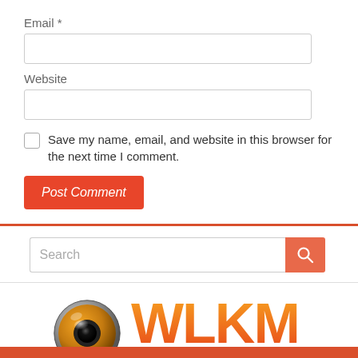Email *
Website
Save my name, email, and website in this browser for the next time I comment.
Post Comment
Search
[Figure (logo): WLKM radio station logo with speaker icon and text 'WLKM STREAMING LIVE NOW']